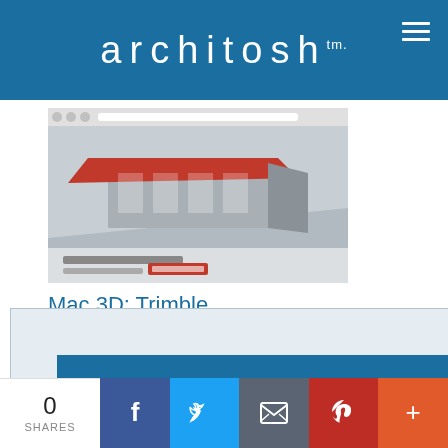architosh™
[Figure (screenshot): Screenshot of SketchUp website showing a modern architectural building render in red and grey tones]
Mac 3D: Trimble
[Figure (screenshot): Popup modal showing architosh logo and INSIDER Membership text: Read 3 free Feature or Analysis articles per month.]
INSIDER Membership
Read 3 free Feature or Analysis articles per month.
oduct In-Depth
Bacus,
tchUp 2014